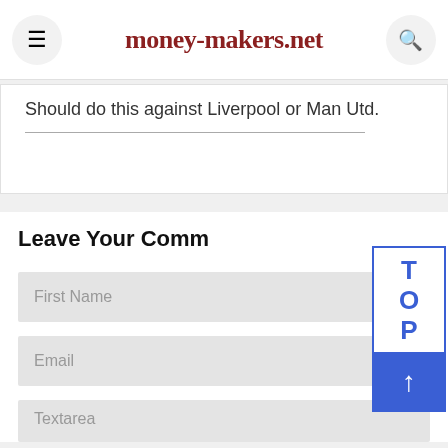money-makers.net
Should do this against Liverpool or Man Utd.
Leave Your Comm
First Name
Email
Textarea
[Figure (screenshot): TOP scroll-to-top button overlay with letters T, O, P stacked vertically in blue on white, and a blue button with upward arrow below]